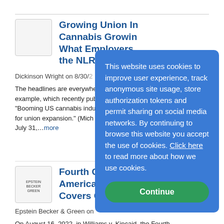Growing Union In Cannabis Growing What Employers the NLRA
Dickinson Wright on 8/30/2...
The headlines are everywhere, for example, which recently pub "Booming US cannabis indu for union expansion." (Mich July 31,...more
Fourth Circuit Ho Americans with Covers Gender D
Epstein Becker & Green on
On August 16, 2022, in Williams v. Kincaid, the Fourth
This website uses cookies to improve user experience, track anonymous site usage, store authorization tokens and permit sharing on social media networks. By continuing to browse this website you accept the use of cookies. Click here to read more about how we use cookies.